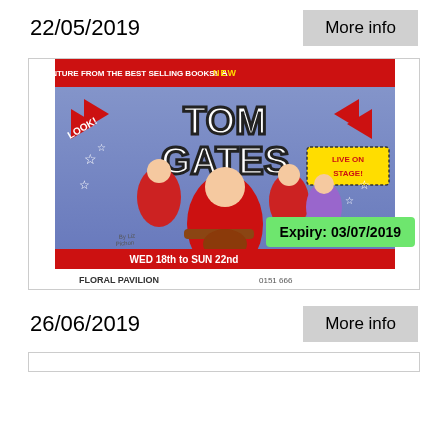22/05/2019
More info
[Figure (illustration): Tom Gates Live on Stage show poster - WED 18th to SUN 22nd at Floral Pavilion. Expiry badge: 03/07/2019]
Expiry: 03/07/2019
26/06/2019
More info